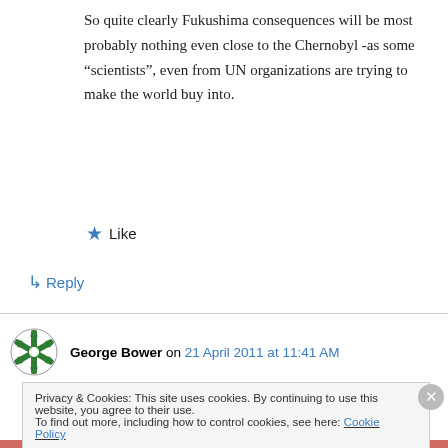So quite clearly Fukushima consequences will be most probably nothing even close to the Chernobyl -as some “scientists”, even from UN organizations are trying to make the world buy into.
★ Like
↳ Reply
George Bower on 21 April 2011 at 11:41 AM
Privacy & Cookies: This site uses cookies. By continuing to use this website, you agree to their use.
To find out more, including how to control cookies, see here: Cookie Policy
Close and accept